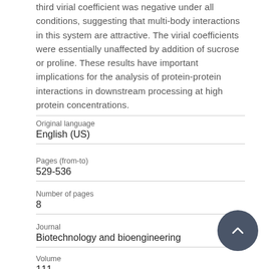third virial coefficient was negative under all conditions, suggesting that multi-body interactions in this system are attractive. The virial coefficients were essentially unaffected by addition of sucrose or proline. These results have important implications for the analysis of protein-protein interactions in downstream processing at high protein concentrations.
Original language
English (US)
Pages (from-to)
529-536
Number of pages
8
Journal
Biotechnology and bioengineering
Volume
111
Issue number